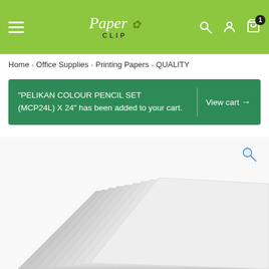Paper Clip — navigation header with hamburger menu, logo, search, account, and cart icons
Home > Office Supplies > Printing Papers > QUALITY
"PELIKAN COLOUR PENCIL SET (MCP24L) X 24" has been added to your cart. View cart →
[Figure (photo): A stack of white printing paper sheets fanned out, viewed from above at an angle.]